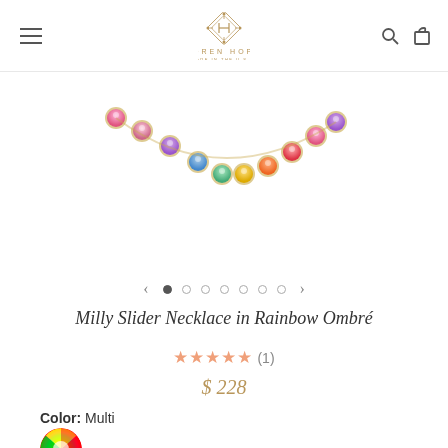[Figure (logo): Loren Hope brand logo with ornate diamond-shaped monogram and text LOREN HOPE / MADE IN THE U.S.A.]
[Figure (photo): Rainbow ombre crystal necklace with multicolored gemstones in gold settings arranged in a curved arc shape on white background]
[Figure (other): Image carousel navigation with left arrow, 7 dots (first filled), right arrow]
Milly Slider Necklace in Rainbow Ombré
★★★★★ (1)
$ 228
Color: Multi